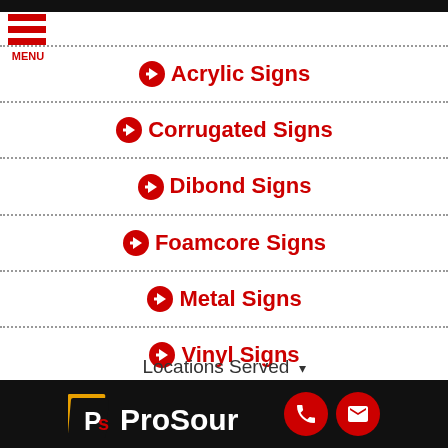[Figure (other): Black top bar header strip]
[Figure (other): Red hamburger menu icon with three horizontal bars and MENU label below]
➔ Acrylic Signs
➔ Corrugated Signs
➔ Dibond Signs
➔ Foamcore Signs
➔ Metal Signs
➔ Vinyl Signs
Locations Served ▾
[Figure (logo): ProSource logo on black footer bar with phone and email red circle buttons]